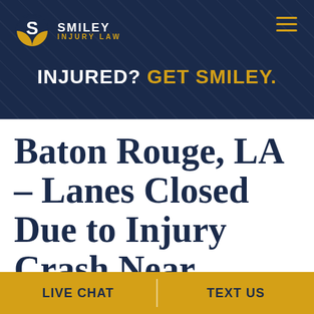[Figure (logo): Smiley Injury Law logo with golden S circle and white/gold text]
INJURED? GET SMILEY.
Baton Rouge, LA – Lanes Closed Due to Injury Crash Near Harding Blvd
LIVE CHAT | TEXT US